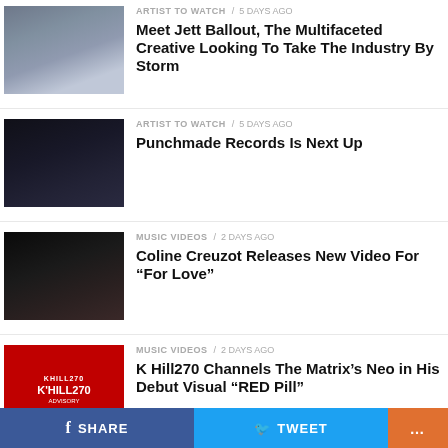[Figure (photo): Artist photo thumbnail - person in cap near car]
ARTIST TO WATCH / 5 days ago
Meet Jett Ballout, The Multifaceted Creative Looking To Take The Industry By Storm
[Figure (photo): Artist photo thumbnail - dark portrait]
ARTIST TO WATCH / 5 days ago
Punchmade Records Is Next Up
[Figure (photo): Music video thumbnail - woman lying down]
MUSIC VIDEOS / 2 days ago
Coline Creuzot Releases New Video For “For Love”
[Figure (photo): Album cover thumbnail - K Hill270 red cover]
MUSIC VIDEOS / 2 days ago
K Hill270 Channels The Matrix’s Neo in His Debut Visual “RED Pill”
[Figure (photo): Music video thumbnail - partial view]
MUSIC VIDEOS / 2 days ago
Offset Releases Brand New Record &
SHARE   TWEET   ...